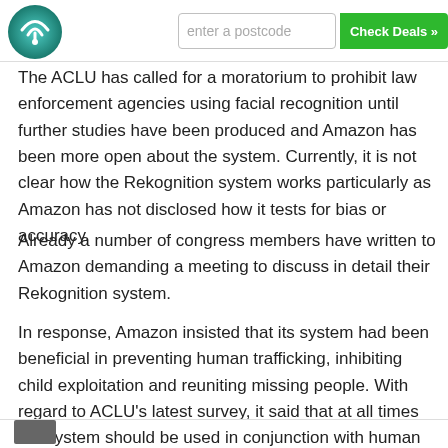Logo and navigation header with postcode input and Check Deals button
The ACLU has called for a moratorium to prohibit law enforcement agencies using facial recognition until further studies have been produced and Amazon has been more open about the system. Currently, it is not clear how the Rekognition system works particularly as Amazon has not disclosed how it tests for bias or accuracy.
Already a number of congress members have written to Amazon demanding a meeting to discuss in detail their Rekognition system.
In response, Amazon insisted that its system had been beneficial in preventing human trafficking, inhibiting child exploitation and reuniting missing people. With regard to ACLU's latest survey, it said that at all times the system should be used in conjunction with human elements and acceptable thresholds should be set at 95% or higher.